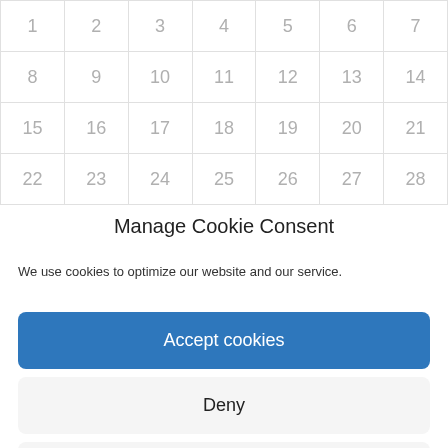| 1 | 2 | 3 | 4 | 5 | 6 | 7 |
| 8 | 9 | 10 | 11 | 12 | 13 | 14 |
| 15 | 16 | 17 | 18 | 19 | 20 | 21 |
| 22 | 23 | 24 | 25 | 26 | 27 | 28 |
Manage Cookie Consent
We use cookies to optimize our website and our service.
Accept cookies
Deny
View preferences